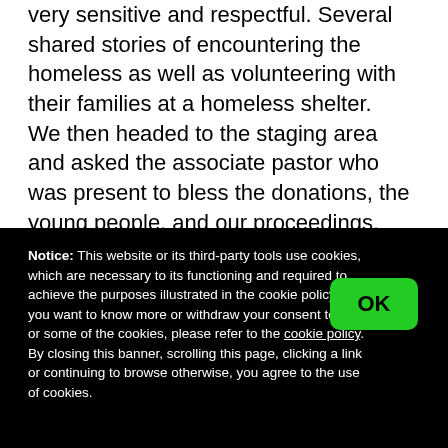very sensitive and respectful. Several shared stories of encountering the homeless as well as volunteering with their families at a homeless shelter.

We then headed to the staging area and asked the associate pastor who was present to bless the donations, the young people, and our proceedings. The young people then thoughtfully went from table
Notice: This website or its third-party tools use cookies, which are necessary to its functioning and required to achieve the purposes illustrated in the cookie policy. If you want to know more or withdraw your consent to all or some of the cookies, please refer to the cookie policy.
By closing this banner, scrolling this page, clicking a link or continuing to browse otherwise, you agree to the use of cookies.